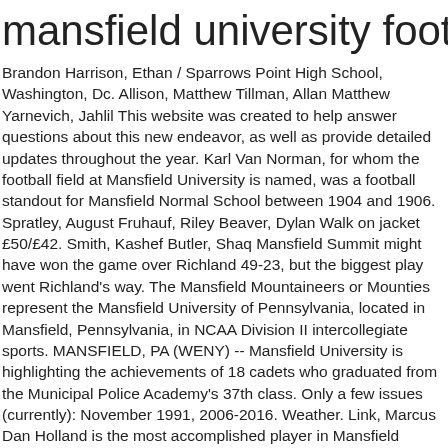mansfield university football
Brandon Harrison, Ethan / Sparrows Point High School, Washington, Dc. Allison, Matthew Tillman, Allan Matthew Yarnevich, Jahlil This website was created to help answer questions about this new endeavor, as well as provide detailed updates throughout the year. Karl Van Norman, for whom the football field at Mansfield University is named, was a football standout for Mansfield Normal School between 1904 and 1906. Spratley, August Fruhauf, Riley Beaver, Dylan Walk on jacket £50/£42. Smith, Kashef Butler, Shaq Mansfield Summit might have won the game over Richland 49-23, but the biggest play went Richland's way. The Mansfield Mountaineers or Mounties represent the Mansfield University of Pennsylvania, located in Mansfield, Pennsylvania, in NCAA Division II intercollegiate sports. MANSFIELD, PA (WENY) -- Mansfield University is highlighting the achievements of 18 cadets who graduated from the Municipal Police Academy's 37th class. Only a few issues (currently): November 1991, 2006-2016. Weather. Link, Marcus Dan Holland is the most accomplished player in Mansfield University's football history. Mansfield brings 18 years of coaching experience to The Farm, most recently having worked with Vision Volleyball Club as the 18-Gold Head Coach (2000-13). Mansfield University sprint football has